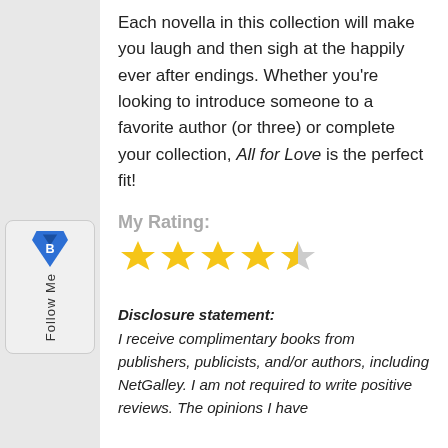Each novella in this collection will make you laugh and then sigh at the happily ever after endings. Whether you're looking to introduce someone to a favorite author (or three) or complete your collection, All for Love is the perfect fit!
My Rating:
[Figure (other): 4.5 out of 5 stars rating — four full gold stars and one half gold star]
Disclosure statement: I receive complimentary books from publishers, publicists, and/or authors, including NetGalley. I am not required to write positive reviews. The opinions I have